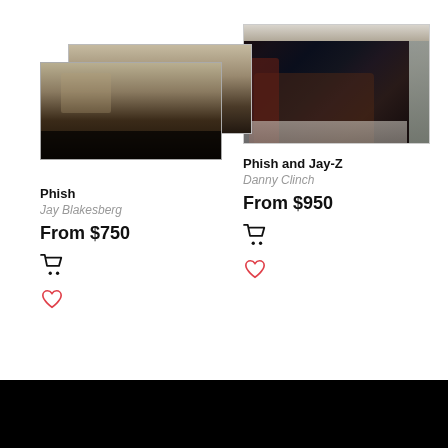[Figure (photo): Panoramic concert photo of Phish performing on stage with a large crowd]
[Figure (photo): Backstage photo of Phish and Jay-Z musicians in a room with instruments]
Phish
Jay Blakesberg
From $750
Phish and Jay-Z
Danny Clinch
From $950